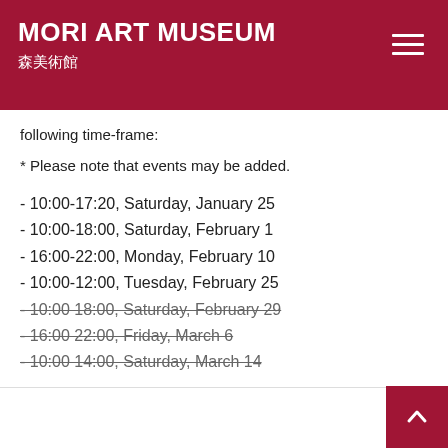MORI ART MUSEUM
森美術館
following time-frame:
* Please note that events may be added.
- 10:00-17:20, Saturday, January 25
- 10:00-18:00, Saturday, February 1
- 16:00-22:00, Monday, February 10
- 10:00-12:00, Tuesday, February 25
- 10:00 18:00, Saturday, February 29 (strikethrough)
- 16:00 22:00, Friday, March 6 (strikethrough)
- 10:00 14:00, Saturday, March 14 (strikethrough)